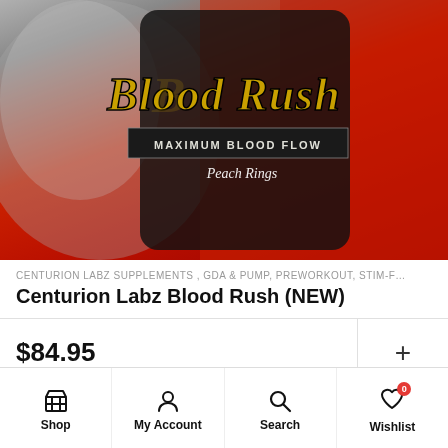[Figure (photo): Product photo of Centurion Labz Blood Rush supplement container. Dark canister with dramatic red background, gold italic script reading 'Blood Rush', black band with 'MAXIMUM BLOOD FLOW' in white letters, and 'Peach Rings' flavor text below.]
CENTURION LABZ SUPPLEMENTS , GDA & PUMP, PREWORKOUT, STIM-F...
Centurion Labz Blood Rush (NEW)
$84.95
[Figure (photo): Partial view of another product at the bottom of the page]
Shop   My Account   Search   Wishlist 0